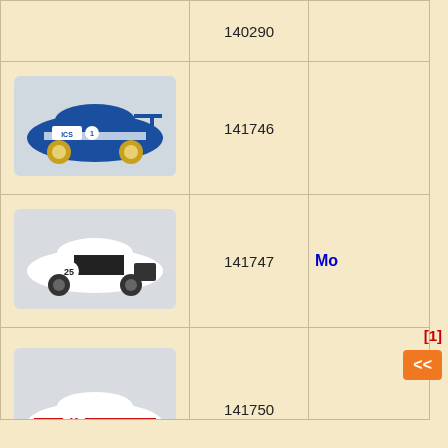| Image | Code | Extra |
| --- | --- | --- |
|  | 140290 |  |
| [car image blue ICS #1] | 141746 |  |
| [car image white/black #25] | 141747 | Mo |
| [car image white/red/blue #19] | 141750 |  |
[1]
<<